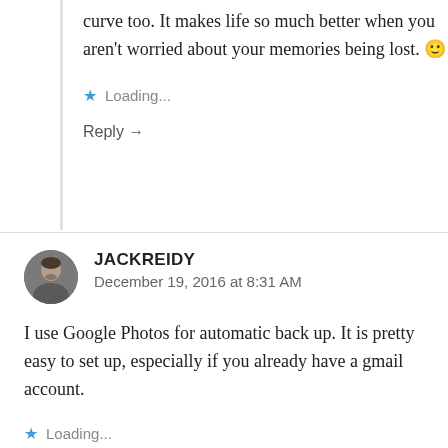curve too. It makes life so much better when you aren't worried about your memories being lost. 🙂
Loading...
Reply →
JACKREIDY
December 19, 2016 at 8:31 AM
I use Google Photos for automatic back up. It is pretty easy to set up, especially if you already have a gmail account.
Loading...